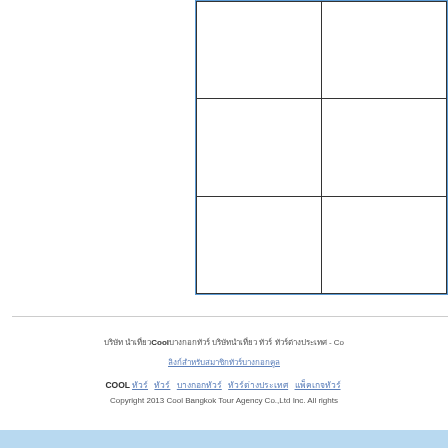[Figure (other): A 2-column by 3-row grid of empty cells, partially visible, with a blue border on the outer frame]
บริษัท นำเที่ยวCoolบางกอกทัวร์ บริษัทนำเที่ยว ทัวร์ ทัวร์ต่างประเทศ - Co
ลิงก์สำหรับสมาชิกทัวร์บางกอกคูล
COOLทัวร์ ทัวร์ บางกอกทัวร์ ทัวร์ต่างประเทศ แพ็คเกจทัวร์
Copyright 2013 Cool Bangkok Tour Agency Co.,Ltd Inc. All rights